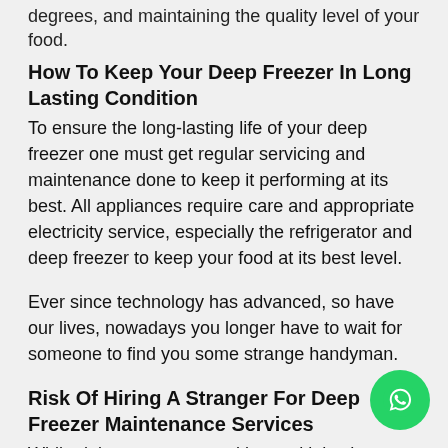degrees, and maintaining the quality level of your food.
How To Keep Your Deep Freezer In Long Lasting Condition
To ensure the long-lasting life of your deep freezer one must get regular servicing and maintenance done to keep it performing at its best. All appliances require care and appropriate electricity service, especially the refrigerator and deep freezer to keep your food at its best level.
Ever since technology has advanced, so have our lives, nowadays you longer have to wait for someone to find you some strange handyman.
Risk Of Hiring A Stranger For Deep Freezer Maintenance Services
While doing so, you are taking multiple chances such as: Letting a strange man into your house, the repairman probably has zero experience whatsoever, can cause further damage to your deep freezer. A simple deep